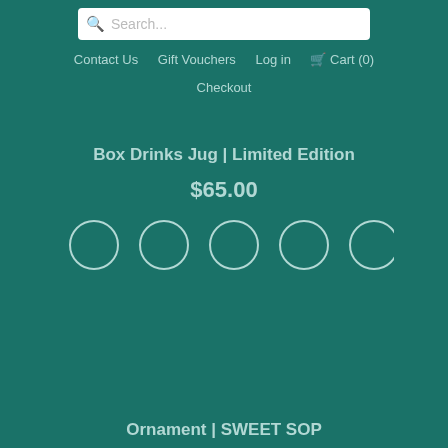[Figure (screenshot): Search bar with magnifying glass icon and placeholder text 'Search...' on white background]
Contact Us   Gift Vouchers   Log in   Cart (0)   Checkout
Box Drinks Jug | Limited Edition
$65.00
[Figure (other): Five empty circular radio button/color selector circles in a row]
Ornament | SWEET SOP